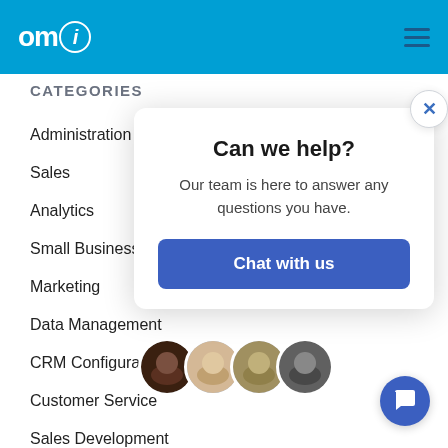omi
CATEGORIES
Administration
Sales
Analytics
Small Business
Marketing
Data Management
CRM Configuration
Customer Service
Sales Development
Can we help?
Our team is here to answer any questions you have.
Chat with us
[Figure (photo): Four circular avatar photos of team members in a row]